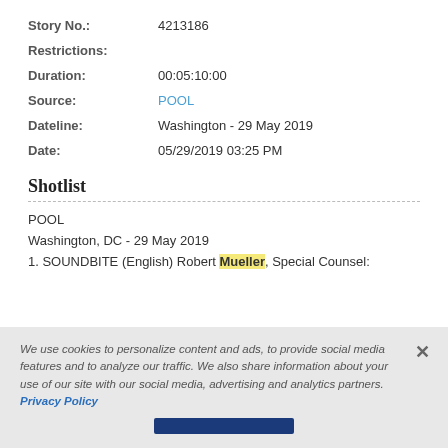Story No.: 4213186
Restrictions:
Duration: 00:05:10:00
Source: POOL
Dateline: Washington - 29 May 2019
Date: 05/29/2019 03:25 PM
Shotlist
POOL
Washington, DC - 29 May 2019
1. SOUNDBITE (English) Robert Mueller, Special Counsel:
We use cookies to personalize content and ads, to provide social media features and to analyze our traffic. We also share information about your use of our site with our social media, advertising and analytics partners. Privacy Policy